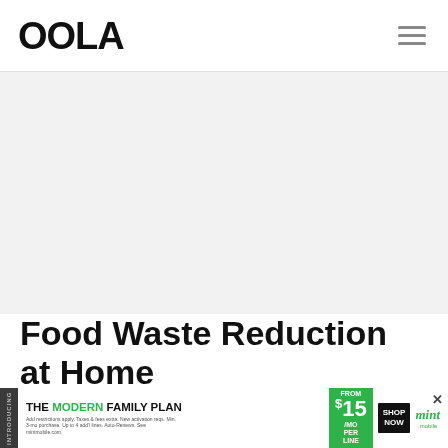OOLA
[Figure (other): Large gray placeholder/advertisement area in the upper portion of the page]
Food Waste Reduction at Home
[Figure (photo): Partial food photo showing vegetables, pasta, tomatoes, mushrooms on white background]
[Figure (infographic): Advertisement banner: 'INTRODUCING THE MODERN FAMILY PLAN FROM $15/MO PER LINE SHOP NOW' - Mint Mobile ad with green color scheme and X close button]